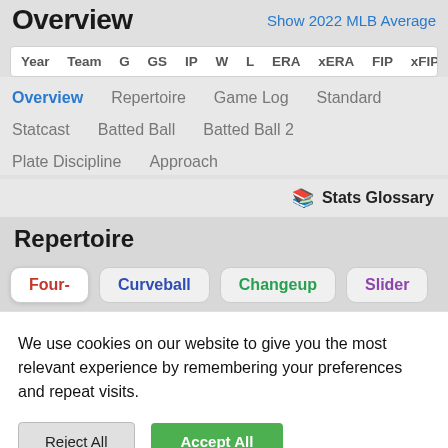Overview
Show 2022 MLB Average
Year  Team  G  GS  IP  W  L  ERA  xERA  FIP  xFIP  W
Overview  Repertoire  Game Log  Standard
Statcast  Batted Ball  Batted Ball 2
Plate Discipline  Approach
Stats Glossary
Repertoire
Four-  Curveball  Changeup  Slider
We use cookies on our website to give you the most relevant experience by remembering your preferences and repeat visits.
Reject All  Accept All